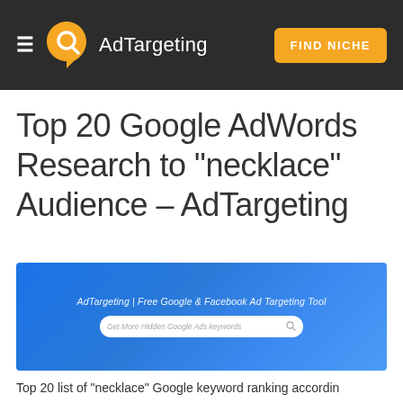AdTargeting | FIND NICHE
Top 20 Google AdWords Research to "necklace" Audience – AdTargeting
[Figure (screenshot): Screenshot of AdTargeting website showing the tagline 'AdTargeting | Free Google & Facebook Ad Targeting Tool' and a search bar with placeholder text 'Get More Hidden Google Ads keywords']
Top 20 list of "necklace" Google keyword ranking accordin